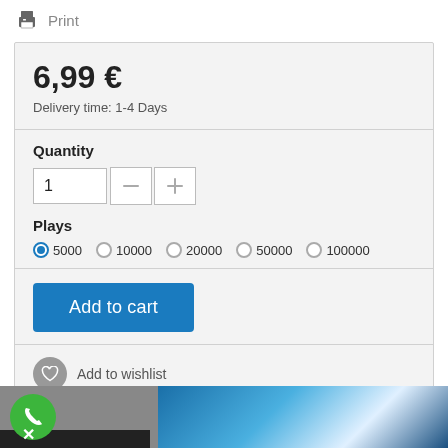Print
6,99 €
Delivery time: 1-4 Days
Quantity
1
Plays
5000  10000  20000  50000  100000
Add to cart
Add to wishlist